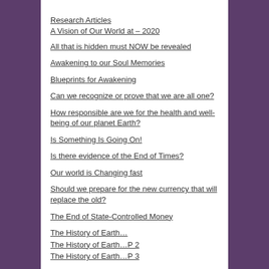Research Articles
A Vision of Our World at – 2020
All that is hidden must NOW be revealed
Awakening to our Soul Memories
Blueprints for Awakening
Can we recognize or prove that we are all one?
How responsible are we for the health and well-being of our planet Earth?
Is Something Is Going On!
Is there evidence of the End of Times?
Our world is Changing fast
Should we prepare for the new currency that will replace the old?
The End of State-Controlled Money
The History of Earth…
The History of Earth…P 2
The History of Earth…P 3